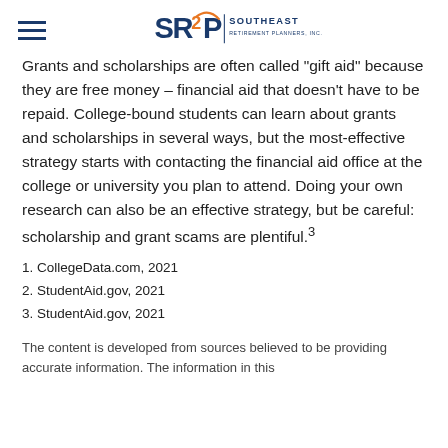Southeast Retirement Planners, Inc.
Grants and scholarships are often called "gift aid" because they are free money – financial aid that doesn't have to be repaid. College-bound students can learn about grants and scholarships in several ways, but the most-effective strategy starts with contacting the financial aid office at the college or university you plan to attend. Doing your own research can also be an effective strategy, but be careful: scholarship and grant scams are plentiful.³
1. CollegeData.com, 2021
2. StudentAid.gov, 2021
3. StudentAid.gov, 2021
The content is developed from sources believed to be providing accurate information. The information in this